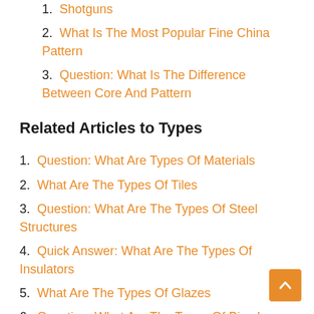Shotguns
What Is The Most Popular Fine China Pattern
Question: What Is The Difference Between Core And Pattern
Related Articles to Types
Question: What Are Types Of Materials
What Are The Types Of Tiles
Question: What Are The Types Of Steel Structures
Quick Answer: What Are The Types Of Insulators
What Are The Types Of Glazes
Question: What Are The Types Of Bias In Research